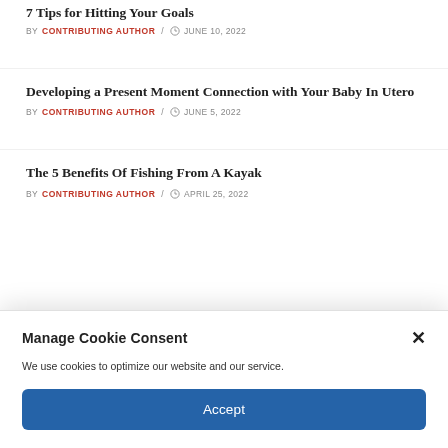7 Tips for Hitting Your Goals BY CONTRIBUTING AUTHOR / JUNE 10, 2022
Developing a Present Moment Connection with Your Baby In Utero
BY CONTRIBUTING AUTHOR / JUNE 5, 2022
The 5 Benefits Of Fishing From A Kayak
BY CONTRIBUTING AUTHOR / APRIL 25, 2022
Manage Cookie Consent
We use cookies to optimize our website and our service.
Accept